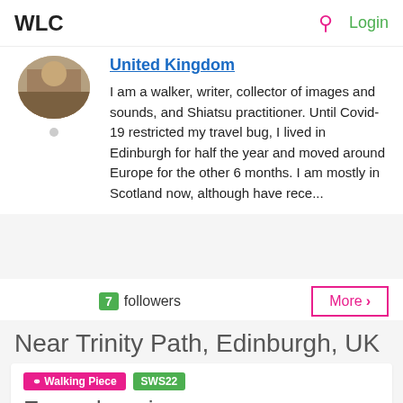WLC  Login
United Kingdom
I am a walker, writer, collector of images and sounds, and Shiatsu practitioner. Until Covid-19 restricted my travel bug, I lived in Edinburgh for half the year and moved around Europe for the other 6 months. I am mostly in Scotland now, although have rece...
7 followers
More >
Near Trinity Path, Edinburgh, UK
Walking Piece  SWS22
Eavesdropping